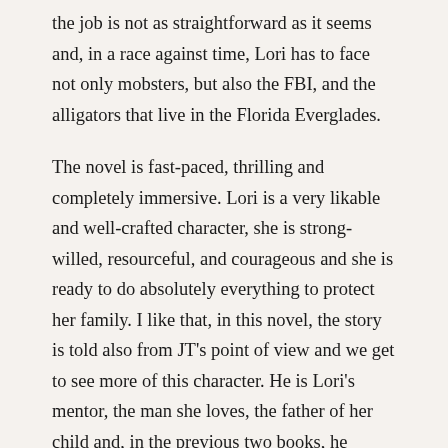the job is not as straightforward as it seems and, in a race against time, Lori has to face not only mobsters, but also the FBI, and the alligators that live in the Florida Everglades.
The novel is fast-paced, thrilling and completely immersive. Lori is a very likable and well-crafted character, she is strong-willed, resourceful, and courageous and she is ready to do absolutely everything to protect her family. I like that, in this novel, the story is told also from JT's point of view and we get to see more of this character. He is Lori's mentor, the man she loves, the father of her child and, in the previous two books, he remained always a bit on the background, but now he has a more central role in the story and we get a better understanding of this character that I like more and more.
The author's wonderful writing style and her great attention to details bring the reader right into the Florida setting with its heat, the dangerous alligators, and the sharks in the ocean